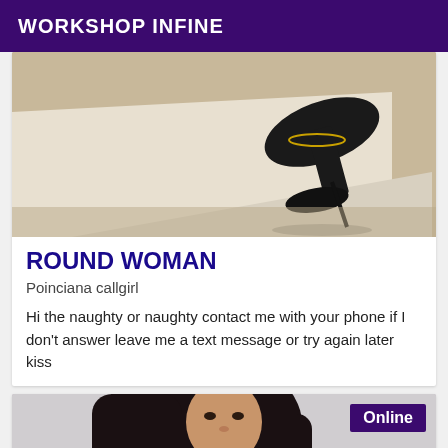WORKSHOP INFINE
[Figure (photo): Photo of high heeled shoes on a bed with white sheets]
ROUND WOMAN
Poinciana callgirl
Hi the naughty or naughty contact me with your phone if I don't answer leave me a text message or try again later kiss
[Figure (photo): Photo of a woman with long dark hair, wearing a black and red outfit, online badge visible]